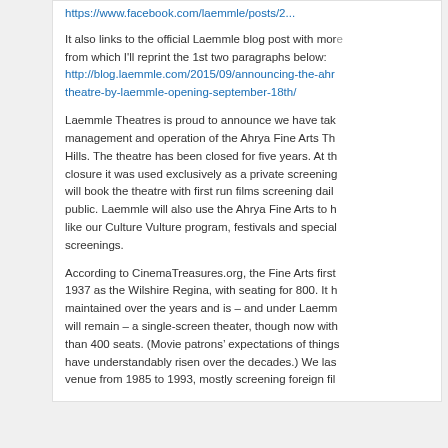https://www.facebook.com/laemmle/posts/2...
It also links to the official Laemmle blog post with more information, from which I'll reprint the 1st two paragraphs below: http://blog.laemmle.com/2015/09/announcing-the-ahrya-fine-arts-theatre-by-laemmle-opening-september-18th/
Laemmle Theatres is proud to announce we have taken over the management and operation of the Ahrya Fine Arts Theatre in Beverly Hills. The theatre has been closed for five years. At the time of its closure it was used exclusively as a private screening room. Laemmle will book the theatre with first run films screening daily and open to the public. Laemmle will also use the Ahrya Fine Arts to host special events like our Culture Vulture program, festivals and special screenings.
According to CinemaTreasures.org, the Fine Arts first opened in 1937 as the Wilshire Regina, with seating for 800. It has been maintained over the years and is – and under Laemmle's management will remain – a single-screen theater, though now with fewer than 400 seats. (Movie patrons' expectations of things have understandably risen over the decades.) We last played this venue from 1985 to 1993, mostly screening foreign fil...
Giles on March 18, 2016 at 8:35 pm
question – so what are the technical aspects of this...